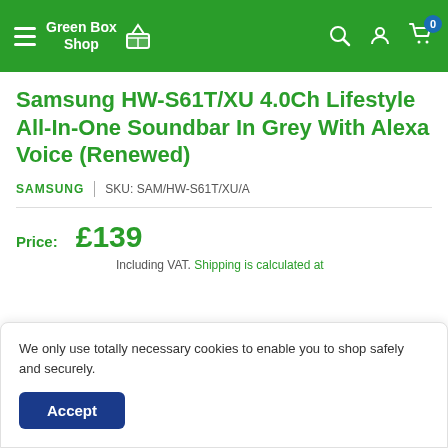Green Box Shop
Samsung HW-S61T/XU 4.0Ch Lifestyle All-In-One Soundbar In Grey With Alexa Voice (Renewed)
SAMSUNG | SKU: SAM/HW-S61T/XU/A
Price: £139 Including VAT. Shipping is calculated at
We only use totally necessary cookies to enable you to shop safely and securely.